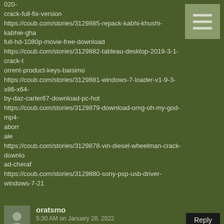020-crack-full-fix-version https://coub.com/stories/3129885-repack-kabhi-khushi-kabhie-gham-full-hd-1080p-movie-free-download https://coub.com/stories/3129882-tableau-desktop-2019-3-1-crack-torrent-product-keys-baisimo https://coub.com/stories/3129881-windows-7-loader-v1-9-3-x86-x64-by-daz-carter67-download-pc-hot https://coub.com/stories/3129879-download-omg-oh-my-god-mp4-aborr ale https://coub.com/stories/3129878-vin-diesel-wheelman-crack-download-cheraf https://coub.com/stories/3129880-sony-psp-usb-driver-windows-7-21
oratsmo d868ddde6e https://coub.com/stories/2968808-adobe-premiere-pro-cc-2015-3-10-3-0-202-repack-by-d-akov-en-64-bit-verified https://coub.com/stories/2968806-how-to-save-game-in-batman-arkham-city-pc-cracked-melgera https://coub.com/stories/2968807-painkiller-overdose-download-crack-serial-key-exclusive https://coub.com/stories/2968802-__exclusive__-double-d-avenger-dvdrip-download
oratsmo | 5:30 AM on January 28, 2022